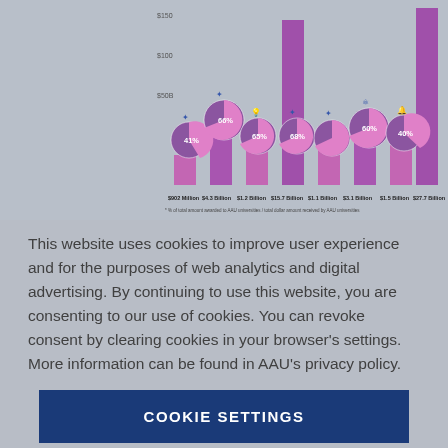[Figure (infographic): Bar chart with pie chart overlays showing federal funding to AAU universities by category. Categories include Defense, Health/NIH, Energy, Science/NSF, Space, Atomic/Nuclear, Infrastructure, and Total. Values shown: $902 Million (41%), $4.3 Billion (66%), $1.2 Billion (65%), $15.7 Billion (68%), $1.1 Billion, $3.1 Billion (60%), $1.5 Billion (40%), $27.7 Billion. Footnote: % of total amount awarded to AAU universities / total dollar amount received by AAU universities.]
This website uses cookies to improve user experience and for the purposes of web analytics and digital advertising. By continuing to use this website, you are consenting to our use of cookies. You can revoke consent by clearing cookies in your browser's settings. More information can be found in AAU's privacy policy.
COOKIE SETTINGS
ACCEPT ALL